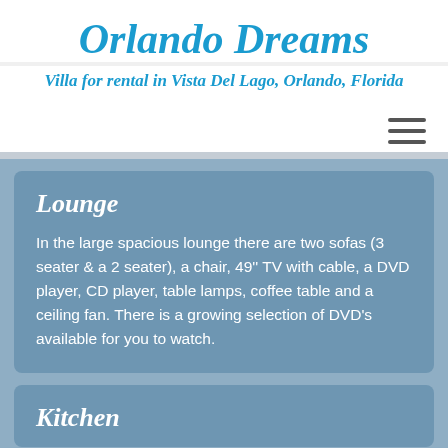Orlando Dreams
Villa for rental in Vista Del Lago, Orlando, Florida
Lounge
In the large spacious lounge there are two sofas (3 seater & a 2 seater), a chair, 49'' TV with cable, a DVD player, CD player, table lamps, coffee table and a ceiling fan. There is a growing selection of DVD's available for you to watch.
Kitchen